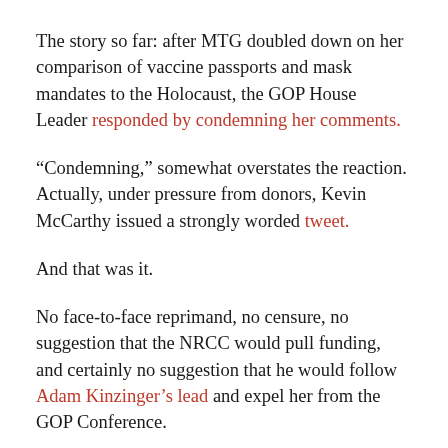The story so far: after MTG doubled down on her comparison of vaccine passports and mask mandates to the Holocaust, the GOP House Leader responded by condemning her comments.
“Condemning,” somewhat overstates the reaction. Actually, under pressure from donors, Kevin McCarthy issued a strongly worded tweet.
And that was it.
No face-to-face reprimand, no censure, no suggestion that the NRCC would pull funding, and certainly no suggestion that he would follow Adam Kinzinger’s lead and expel her from the GOP Conference.